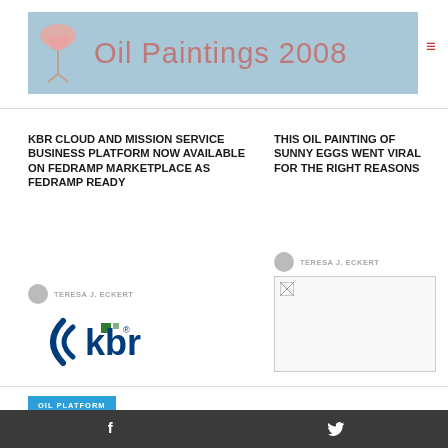[Figure (logo): Oil Paintings 2008 website header banner with light blue background, a pink lamp icon on the left, and the text 'Oil Paintings 2008' in salmon/pink color]
KBR CLOUD AND MISSION SERVICE BUSINESS PLATFORM NOW AVAILABLE ON FEDRAMP MARKETPLACE AS FEDRAMP READY
TERESA J. ECKERT
[Figure (logo): KBR company logo in blue and green colors]
THIS OIL PAINTING OF SUNNY EGGS WENT VIRAL FOR THE RIGHT REASONS
TERESA J. ECKERT
[Figure (photo): Broken image placeholder for article about oil painting of sunny eggs]
OIL PLATFORM
Facebook and Twitter social media icons